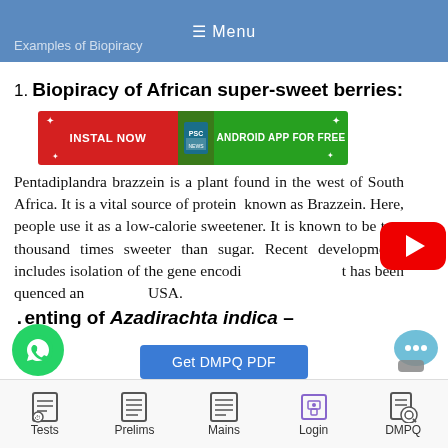≡ Menu
Examples of Biopiracy
1. Biopiracy of African super-sweet berries:
[Figure (screenshot): Advertisement banner: 'INSTAL NOW ANDROID APP FOR FREE' with red and green sections and PSC News icon]
Pentadiplandra brazzein is a plant found in the west of South Africa. It is a vital source of protein  known as Brazzein. Here, people use it as a low-calorie sweetener. It is known to be two thousand times sweeter than sugar. Recent developments includes isolation of the gene encoding brazzein that has been sequenced and ... USA.
2. Patenting of Azadirachta indica –
Tests   Prelims   Mains   Login   DMPQ